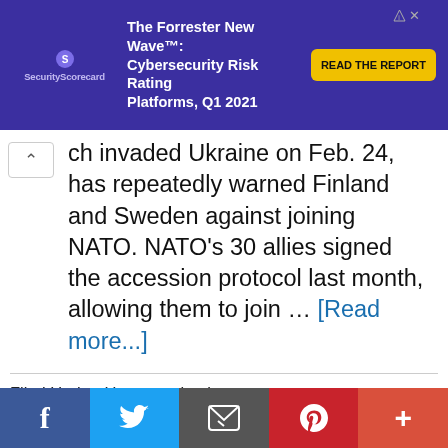[Figure (other): SecurityScorecard advertisement banner: The Forrester New Wave™: Cybersecurity Risk Rating Platforms, Q1 2021 with READ THE REPORT button]
ch invaded Ukraine on Feb. 24, has repeatedly warned Finland and Sweden against joining NATO. NATO's 30 allies signed the accession protocol last month, allowing them to join … [Read more...]
Filed Under: Uncategorized
World news, Ukraine, Russia, Sweden, Finland, NATO, new russian dance, why isn't ukraine in nato, closer 3rd warning, georgia will join nato, russian offensive 1944, sweden x finland hetalia, ukraine elects new president,
[Figure (other): Social sharing bar with Facebook, Twitter, Email, Pinterest, and More (+) buttons]